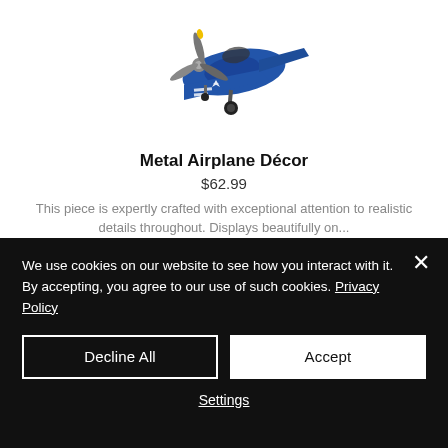[Figure (photo): Blue metal model airplane (WWII fighter style with propeller, landing gear, and white star markings on wings), cropped showing upper portion of model against white background.]
Metal Airplane Décor
$62.99
This piece is expertly crafted with exceptional attention to realistic details throughout. Displays beautifully on...
We use cookies on our website to see how you interact with it. By accepting, you agree to our use of such cookies. Privacy Policy
Decline All
Accept
Settings